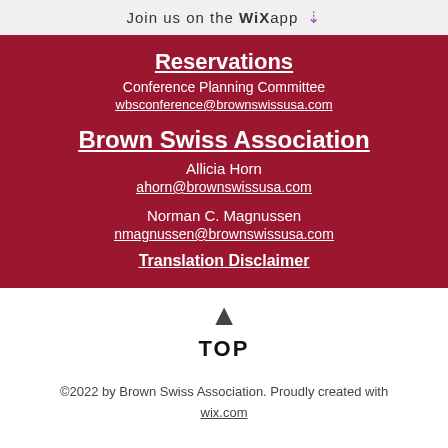Join us on the WiX app ⬇
Reservations
Conference Planning Committee
wbsconference@brownswissusa.com
Brown Swiss Association
Allicia Horn
ahorn@brownswissusa.com
Norman C. Magnussen
nmagnussen@brownswissusa.com
Translation Disclaimer
TOP
©2022 by Brown Swiss Association. Proudly created with wix.com